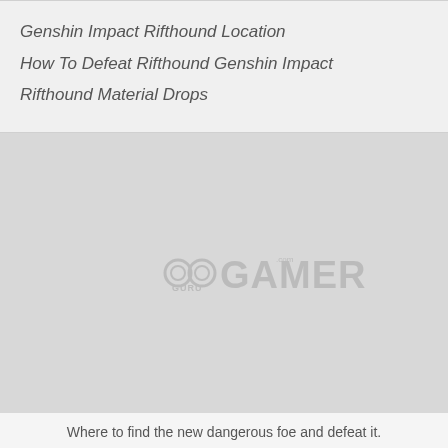Genshin Impact Rifthound Location
How To Defeat Rifthound Genshin Impact
Rifthound Material Drops
[Figure (logo): GuruGamer.com watermark logo on a light gray background placeholder image]
Where to find the new dangerous foe and defeat it.